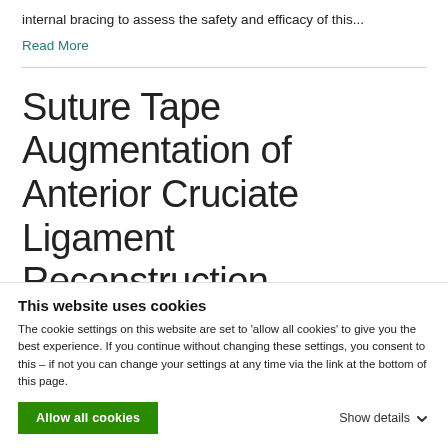internal bracing to assess the safety and efficacy of this...
Read More
Suture Tape Augmentation of Anterior Cruciate Ligament Reconstruction increases
This website uses cookies
The cookie settings on this website are set to 'allow all cookies' to give you the best experience. If you continue without changing these settings, you consent to this – if not you can change your settings at any time via the link at the bottom of this page.
Allow all cookies
Show details